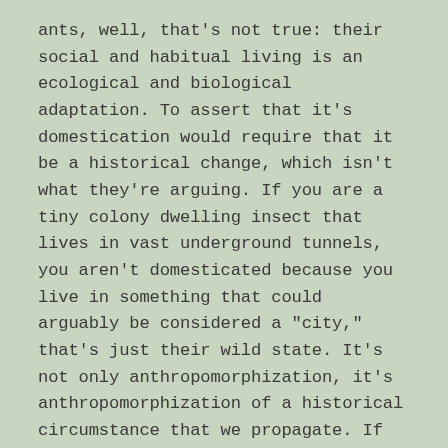ants, well, that's not true: their social and habitual living is an ecological and biological adaptation. To assert that it's domestication would require that it be a historical change, which isn't what they're arguing. If you are a tiny colony dwelling insect that lives in vast underground tunnels, you aren't domesticated because you live in something that could arguably be considered a "city," that's just their wild state. It's not only anthropomorphization, it's anthropomorphization of a historical circumstance that we propagate. If sedentism is in a species DNA, then you can't say it's been altered, which is what is required for domestication.
The other side of this argument is that ants are parasitized themselves by fungi